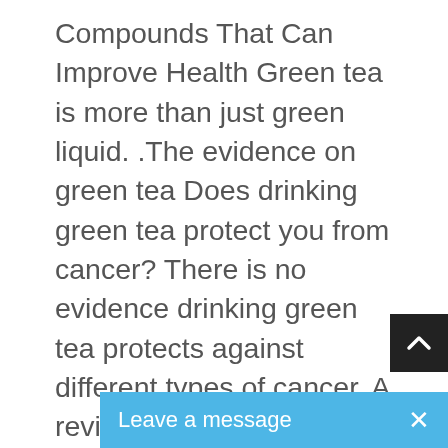Compounds That Can Improve Health Green tea is more than just green liquid. .The evidence on green tea Does drinking green tea protect you from cancer? There is no evidence drinking green tea protects against different types of cancer. A review from 2009 involving 51 studies, with more than 1.6 million participants, looked for an association .The health benefits of Chinese green tea have been known since ancient times. It is recommended to drink three or more cups of green tea per day. The only harmful effect of drinking green tea is insomnia due to the high caffeine content. Tea, herb, other than .Food & Diet > Hydration > The health benefits of drinking tea The health benefits of drinking tea How drinking tea is good for you Share . Benefits of Green tea — In addition to the numerous health benefits mentioned above, green tea has also been found to .If you are thinking about adding a green tea dietary supplement to your diet, consider the benefits and risks as
[Figure (other): Scroll-to-top button: dark/black square with upward-pointing chevron arrow in white]
[Figure (other): Chat widget bar with blue background showing 'Leave a message' text and an X close button]